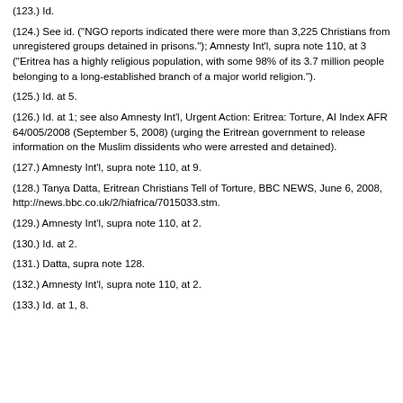(123.) Id.
(124.) See id. ("NGO reports indicated there were more than 3,225 Christians from unregistered groups detained in prisons."); Amnesty Int'l, supra note 110, at 3 ("Eritrea has a highly religious population, with some 98% of its 3.7 million people belonging to a long-established branch of a major world religion.").
(125.) Id. at 5.
(126.) Id. at 1; see also Amnesty Int'l, Urgent Action: Eritrea: Torture, AI Index AFR 64/005/2008 (September 5, 2008) (urging the Eritrean government to release information on the Muslim dissidents who were arrested and detained).
(127.) Amnesty Int'l, supra note 110, at 9.
(128.) Tanya Datta, Eritrean Christians Tell of Torture, BBC NEWS, June 6, 2008, http://news.bbc.co.uk/2/hiafrica/7015033.stm.
(129.) Amnesty Int'l, supra note 110, at 2.
(130.) Id. at 2.
(131.) Datta, supra note 128.
(132.) Amnesty Int'l, supra note 110, at 2.
(133.) Id. at 1, 8.